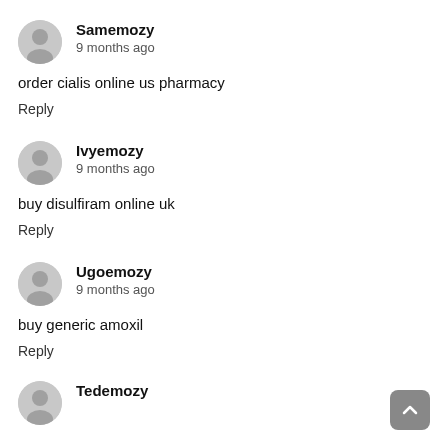Samemozy
9 months ago
order cialis online us pharmacy
Reply
Ivyemozy
9 months ago
buy disulfiram online uk
Reply
Ugoemozy
9 months ago
buy generic amoxil
Reply
Tedemozy